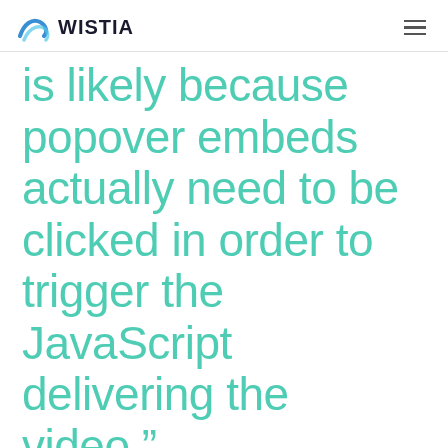WISTIA
is likely because popover embeds actually need to be clicked in order to trigger the JavaScript delivering the video.”